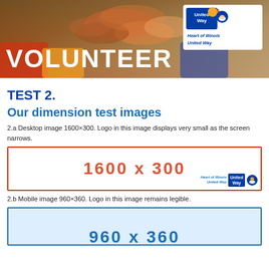[Figure (photo): Banner photo showing diverse hands reaching together (volunteer image) with 'VOLUNTEER' text overlay and United Way Heart of Illinois logo in top right corner.]
TEST 2.
Our dimension test images
2.a Desktop image 1600×300. Logo in this image displays very small as the screen narrows.
[Figure (infographic): Red-bordered box showing dimension placeholder '1600 x 300' in red text with small United Way Heart of Illinois logo in bottom right.]
2.b Mobile image 960×360. Logo in this image remains legible.
[Figure (infographic): Blue-bordered box with light blue background showing dimension placeholder '960 x 360' in blue text, partially visible at bottom of page.]